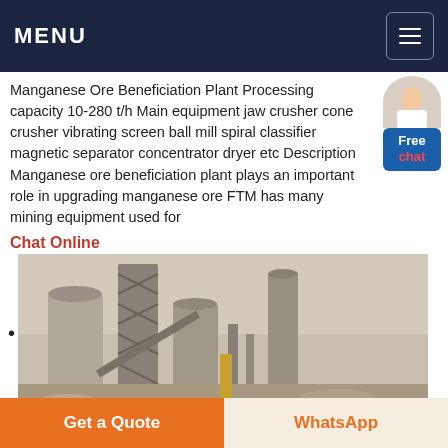MENU
Manganese Ore Beneficiation Plant Processing capacity 10-280 t/h Main equipment jaw crusher cone crusher vibrating screen ball mill spiral classifier magnetic separator concentrator dryer etc Description Manganese ore beneficiation plant plays an important role in upgrading manganese ore FTM has many mining equipment used for
Chat Online
[Figure (photo): Industrial manganese ore beneficiation plant with large metal structures, silos, conveyor systems, and processing towers against a hazy sky.]
Get a Quote
WhatsApp